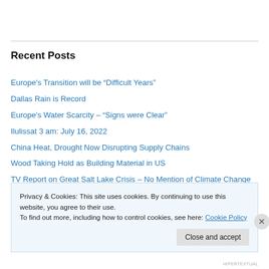Recent Posts
Europe's Transition will be “Difficult Years”
Dallas Rain is Record
Europe's Water Scarcity – “Signs were Clear”
Ilulissat 3 am: July 16, 2022
China Heat, Drought Now Disrupting Supply Chains
Wood Taking Hold as Building Material in US
TV Report on Great Salt Lake Crisis – No Mention of Climate Change
Privacy & Cookies: This site uses cookies. By continuing to use this website, you agree to their use.
To find out more, including how to control cookies, see here: Cookie Policy
Close and accept